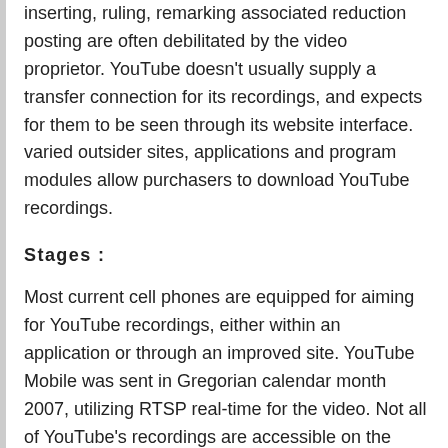inserting, ruling, remarking associated reduction posting are often debilitated by the video proprietor. YouTube doesn't usually supply a transfer connection for its recordings, and expects for them to be seen through its website interface.  varied outsider sites, applications and program modules allow purchasers to download YouTube recordings.
Stages :
Most current cell phones are equipped for aiming for YouTube recordings, either within an application or through an improved site. YouTube Mobile was sent in Gregorian calendar month 2007, utilizing RTSP real-time for the video. Not all of YouTube's recordings are accessible on the versatile variant of the location.
Since Gregorian calendar month 2007, YouTube recordings are accessible for review on a scope of Apple items. This necessary YouTube substance to be transcoded into Apple's favored video standard, H.264,